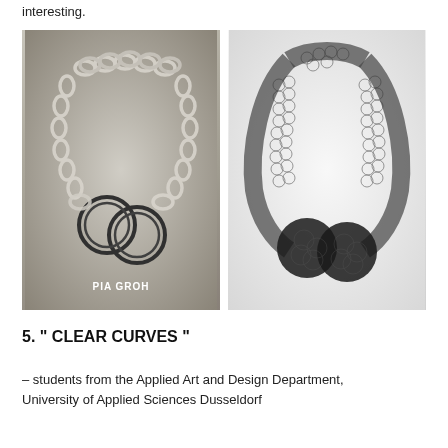interesting.
[Figure (photo): Two jewelry pieces side by side: left image shows a silver chain-link necklace with two dark interlocked rings at the bottom, labeled 'PIA GROH'; right image shows a dark wire mesh necklace with two spherical ornaments at the bottom.]
5. " CLEAR CURVES "
– students from the Applied Art and Design Department, University of Applied Sciences Dusseldorf